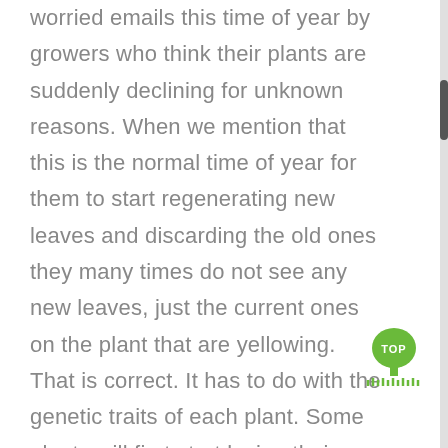worried emails this time of year by growers who think their plants are suddenly declining for unknown reasons. When we mention that this is the normal time of year for them to start regenerating new leaves and discarding the old ones they many times do not see any new leaves, just the current ones on the plant that are yellowing. That is correct. It has to do with the genetic traits of each plant. Some plants will first start losing their leaves if not all of them before the new baby leaves start to emerge from the nodes on the branch. Other exotic hibiscus
[Figure (illustration): Green tree icon with 'TOP' text and a decorative grass/ground line beneath it, serving as a back-to-top button]